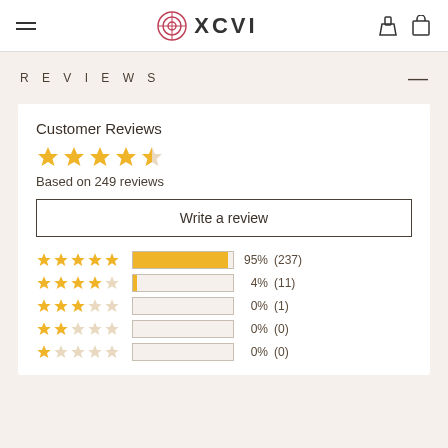XCVI
REVIEWS
Customer Reviews
Based on 249 reviews
Write a review
[Figure (bar-chart): Rating Distribution]